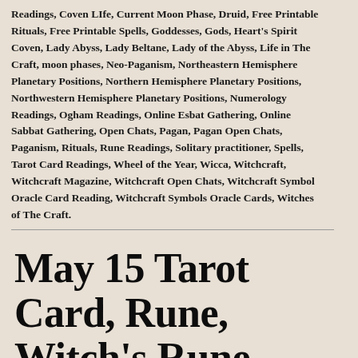Readings, Coven Life, Current Moon Phase, Druid, Free Printable Rituals, Free Printable Spells, Goddesses, Gods, Heart's Spirit Coven, Lady Abyss, Lady Beltane, Lady of the Abyss, Life in The Craft, moon phases, Neo-Paganism, Northeastern Hemisphere Planetary Positions, Northern Hemisphere Planetary Positions, Northwestern Hemisphere Planetary Positions, Numerology Readings, Ogham Readings, Online Esbat Gathering, Online Sabbat Gathering, Open Chats, Pagan, Pagan Open Chats, Paganism, Rituals, Rune Readings, Solitary practitioner, Spells, Tarot Card Readings, Wheel of the Year, Wicca, Witchcraft, Witchcraft Magazine, Witchcraft Open Chats, Witchcraft Symbol Oracle Card Reading, Witchcraft Symbols Oracle Cards, Witches of The Craft.
May 15 Tarot Card, Rune, Witch's Rune, Ogham Divination Journal